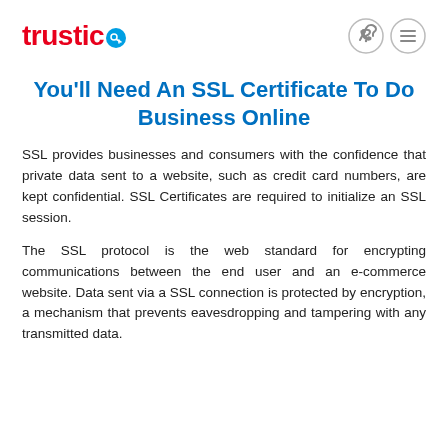trustico
You'll Need An SSL Certificate To Do Business Online
SSL provides businesses and consumers with the confidence that private data sent to a website, such as credit card numbers, are kept confidential. SSL Certificates are required to initialize an SSL session.
The SSL protocol is the web standard for encrypting communications between the end user and an e-commerce website. Data sent via a SSL connection is protected by encryption, a mechanism that prevents eavesdropping and tampering with any transmitted data.